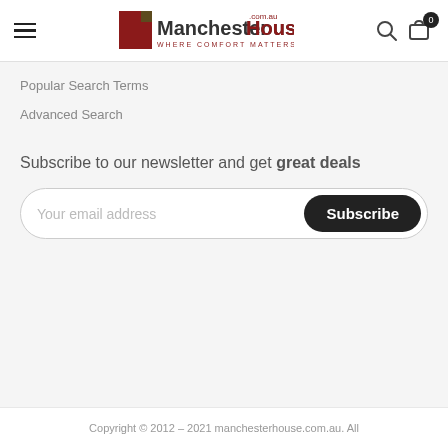[Figure (logo): ManchesterHouse.com.au logo with red square graphic and tagline WHERE COMFORT MATTERS]
Popular Search Terms
Advanced Search
Subscribe to our newsletter and get great deals
Copyright © 2012 – 2021 manchesterhouse.com.au. All